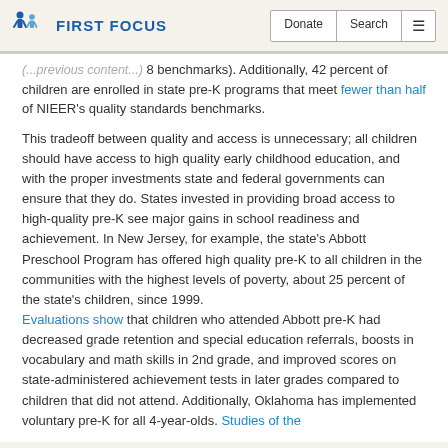First Focus | Donate | Search
(... ) 8 benchmarks). Additionally, 42 percent of children are enrolled in state pre-K programs that meet fewer than half of NIEER's quality standards benchmarks.
This tradeoff between quality and access is unnecessary; all children should have access to high quality early childhood education, and with the proper investments state and federal governments can ensure that they do. States invested in providing broad access to high-quality pre-K see major gains in school readiness and achievement. In New Jersey, for example, the state's Abbott Preschool Program has offered high quality pre-K to all children in the communities with the highest levels of poverty, about 25 percent of the state's children, since 1999. Evaluations show that children who attended Abbott pre-K had decreased grade retention and special education referrals, boosts in vocabulary and math skills in 2nd grade, and improved scores on state-administered achievement tests in later grades compared to children that did not attend. Additionally, Oklahoma has implemented voluntary pre-K for all 4-year-olds. Studies of the